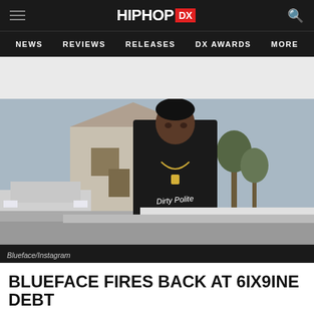HIPHOP DX — NEWS | REVIEWS | RELEASES | DX AWARDS | MORE
[Figure (photo): Young man in black hoodie with 'Dirty Polite' text, wearing a chain necklace, standing outdoors with a house and SUV in background. Photo credit: Blueface/Instagram]
Blueface/Instagram
BLUEFACE FIRES BACK AT 6IX9INE DEBT